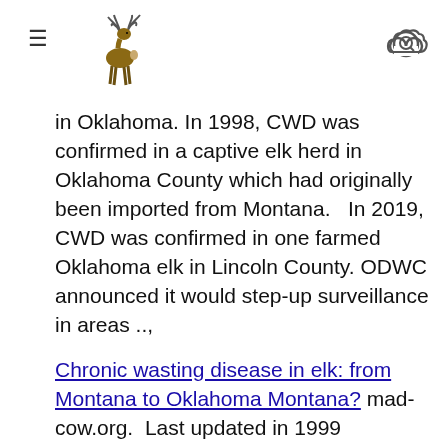≡ [deer icon] [search cloud icon]
in Oklahoma. In 1998, CWD was confirmed in a captive elk herd in Oklahoma County which had originally been imported from Montana.   In 2019, CWD was confirmed in one farmed Oklahoma elk in Lincoln County. ODWC announced it would step-up surveillance in areas ..,
Chronic wasting disease in elk: from Montana to Oklahoma Montana? mad-cow.org.  Last updated in 1999
... The records show that the most recent elk diagnosed with CWD in Oklahoma was born and raised on the Kesler Game Farm. It was shipped directly to a game farm in Oklahoma City owned by Don Kaspereit in April 1997... records of Kesler Game Farm elk from Montana Fish, Wildlife and Parks and Montana Department of livestock...